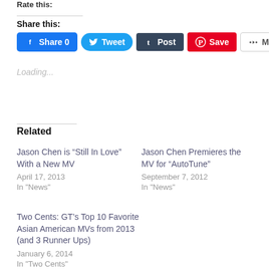Rate this:
Share this:
[Figure (other): Social share buttons: Facebook Share 0, Tweet, Post (Tumblr), Save (Pinterest), More]
Loading...
Related
Jason Chen is “Still In Love” With a New MV
April 17, 2013
In "News"
Jason Chen Premieres the MV for “AutoTune”
September 7, 2012
In "News"
Two Cents: GT’s Top 10 Favorite Asian American MVs from 2013 (and 3 Runner Ups)
January 6, 2014
In "Two Cents"